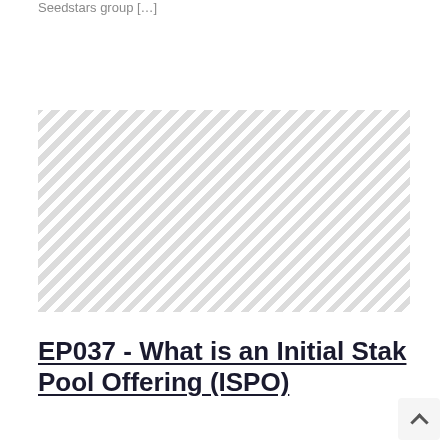Seedstars group […]
[Figure (illustration): Placeholder image with diagonal grey and white stripes pattern]
EP037 - What is an Initial Stake Pool Offering (ISPO)